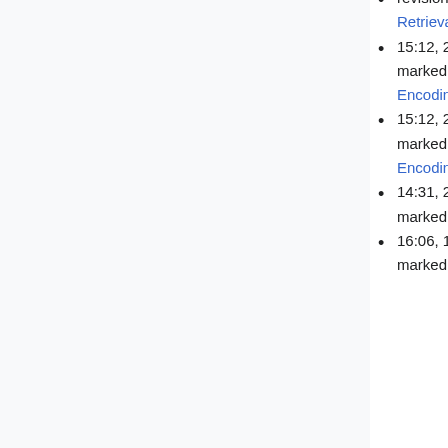revision 7197 of page Penn Electrophysiology of Encoding and Retrieval Study patrolled
15:12, 20 January 2022 Jrudoler (Talk | contribs) automatically marked revision 7196 of page Penn Electrophysiology of Encoding and Retrieval Study patrolled
15:12, 20 January 2022 Jrudoler (Talk | contribs) automatically marked revision 7195 of page Penn Electrophysiology of Encoding and Retrieval Study patrolled
14:31, 20 January 2022 Jrudoler (Talk | contribs) automatically marked revision 7194 of page MediaWiki:Sidebar patrolled
16:06, 19 January 2022 Kahana (Talk | contribs) automatically marked revision 7192 of page Penn